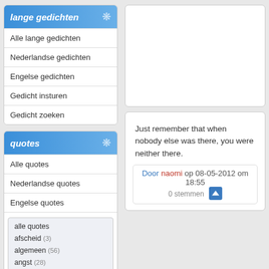lange gedichten
Alle lange gedichten
Nederlandse gedichten
Engelse gedichten
Gedicht insturen
Gedicht zoeken
quotes
Alle quotes
Nederlandse quotes
Engelse quotes
alle quotes
afscheid (3)
algemeen (56)
angst (28)
bedrog (9)
blijdschap (57)
dieren en natuur (2)
discriminatie (17)
drank & drugs (17)
Just remember that when nobody else was there, you were neither there.
Door naomi op 08-05-2012 om 18:55
0 stemmen